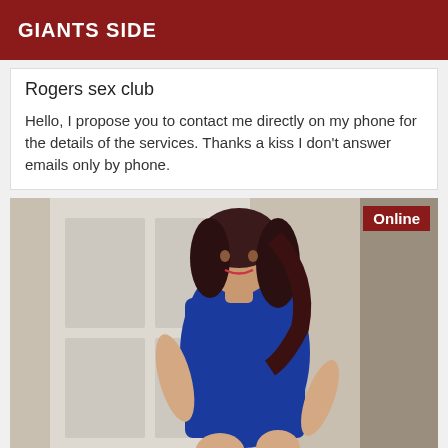GIANTS SIDE
Rogers sex club
Hello, I propose you to contact me directly on my phone for the details of the services. Thanks a kiss I don't answer emails only by phone.
[Figure (photo): Woman in blue dress posing indoors near a white door. An 'Online' badge appears in the top-right corner of the image.]